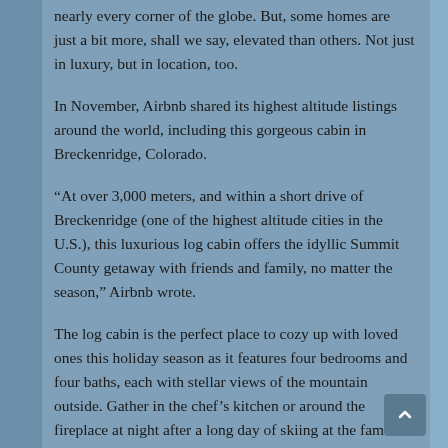nearly every corner of the globe. But, some homes are just a bit more, shall we say, elevated than others. Not just in luxury, but in location, too.
In November, Airbnb shared its highest altitude listings around the world, including this gorgeous cabin in Breckenridge, Colorado.
“At over 3,000 meters, and within a short drive of Breckenridge (one of the highest altitude cities in the U.S.), this luxurious log cabin offers the idyllic Summit County getaway with friends and family, no matter the season,” Airbnb wrote.
The log cabin is the perfect place to cozy up with loved ones this holiday season as it features four bedrooms and four baths, each with stellar views of the mountain outside. Gather in the chef’s kitchen or around the fireplace at night after a long day of skiing at the famed mountain